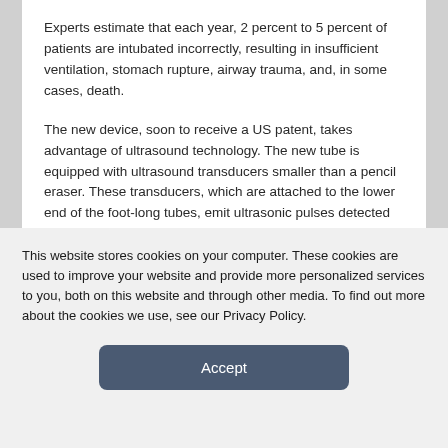Experts estimate that each year, 2 percent to 5 percent of patients are intubated incorrectly, resulting in insufficient ventilation, stomach rupture, airway trauma, and, in some cases, death.
The new device, soon to receive a US patent, takes advantage of ultrasound technology. The new tube is equipped with ultrasound transducers smaller than a pencil eraser. These transducers, which are attached to the lower end of the foot-long tubes, emit ultrasonic pulses detected by a small receiver on the front of the patient's neck only if the device is correctly inserted.
This website stores cookies on your computer. These cookies are used to improve your website and provide more personalized services to you, both on this website and through other media. To find out more about the cookies we use, see our Privacy Policy.